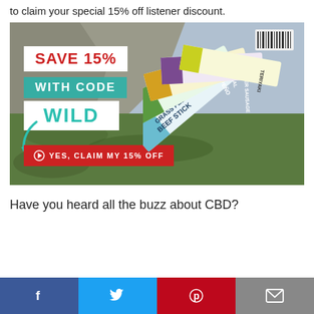to claim your special 15% off listener discount.
[Figure (photo): Advertisement for Paleovalley 100% Grass Fed Beef Sticks showing product packages fanned out on a grassy outdoor background. Left side shows promotional text: SAVE 15%, WITH CODE, WILD, and a red button saying YES, CLAIM MY 15% OFF.]
Have you heard all the buzz about CBD?
[Figure (infographic): Social share bar with Facebook (blue), Twitter (light blue), Pinterest (red), and Email (gray) buttons.]